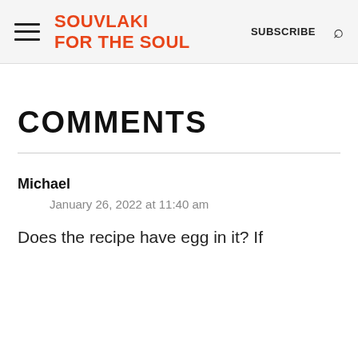SOUVLAKI FOR THE SOUL
COMMENTS
Michael
January 26, 2022 at 11:40 am
Does the recipe have egg in it? If so, what do you do with it?